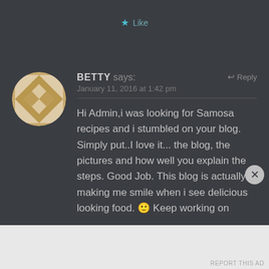★ Like
BETTY says:
↩ Reply
January 11, 2016 at 1:42 pm
Hi Admin,i was looking for Samosa recipes and i stumbled on your blog. Simply put..I love it... the blog, the pictures and how well you explain the steps. Good Job. This blog is actually making me smile when i see delicious looking food. 🙂 Keep working on
Advertisements
REPORT THIS AD